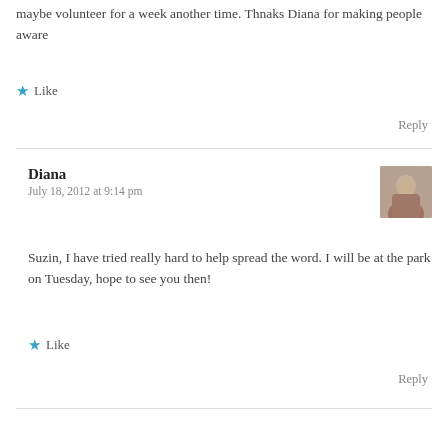maybe volunteer for a week another time. Thnaks Diana for making people aware
★ Like
Reply
Diana
July 18, 2012 at 9:14 pm
Suzin, I have tried really hard to help spread the word. I will be at the park on Tuesday, hope to see you then!
★ Like
Reply